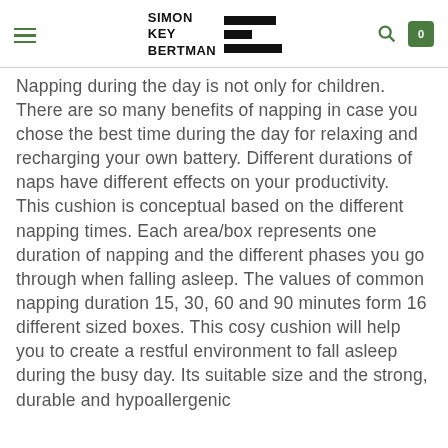SIMON KEY BERTMAN [logo with navigation bars, search icon, cart icon showing 0]
Napping during the day is not only for children. There are so many benefits of napping in case you chose the best time during the day for relaxing and recharging your own battery. Different durations of naps have different effects on your productivity.
This cushion is conceptual based on the different napping times. Each area/box represents one duration of napping and the different phases you go through when falling asleep. The values of common napping duration 15, 30, 60 and 90 minutes form 16 different sized boxes. This cosy cushion will help you to create a restful environment to fall asleep during the busy day. Its suitable size and the strong, durable and hypoallergenic